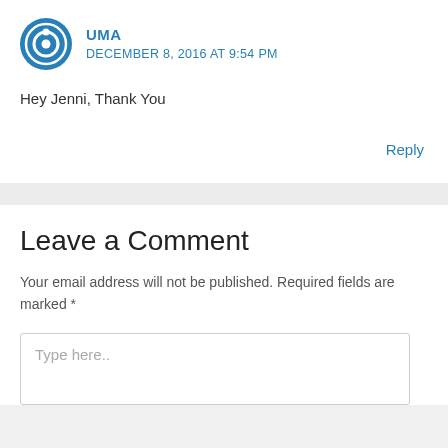UMA
DECEMBER 8, 2016 AT 9:54 PM
Hey Jenni, Thank You
Reply
Leave a Comment
Your email address will not be published. Required fields are marked *
Type here..